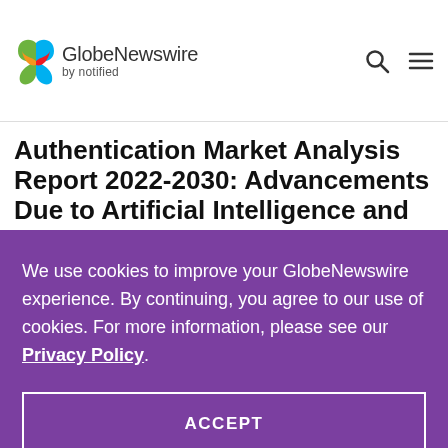GlobeNewswire by notified
Authentication Market Analysis Report 2022-2030: Advancements Due to Artificial Intelligence and
We use cookies to improve your GlobeNewswire experience. By continuing, you agree to our use of cookies. For more information, please see our Privacy Policy.
ACCEPT